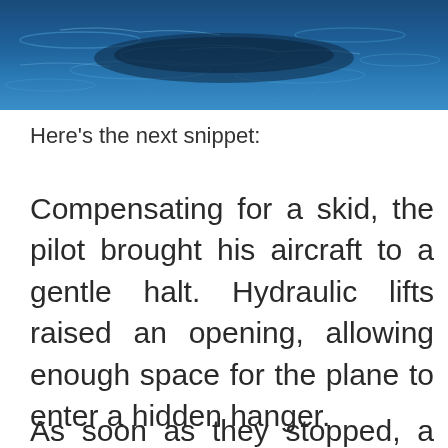[Figure (photo): Ocean water surface with blue tones and ripples, partial view at top of page]
Here's the next snippet:
Compensating for a skid, the pilot brought his aircraft to a gentle halt. Hydraulic lifts raised an opening, allowing enough space for the plane to enter a hidden hanger.
As soon as they stopped, a door